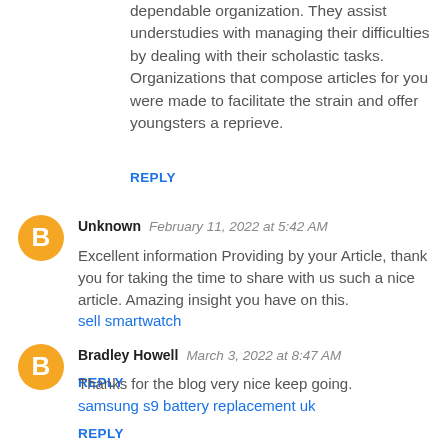dependable organization. They assist understudies with managing their difficulties by dealing with their scholastic tasks. Organizations that compose articles for you were made to facilitate the strain and offer youngsters a reprieve.
REPLY
Unknown  February 11, 2022 at 5:42 AM
Excellent information Providing by your Article, thank you for taking the time to share with us such a nice article. Amazing insight you have on this. sell smartwatch
REPLY
Bradley Howell  March 3, 2022 at 8:47 AM
Thanks for the blog very nice keep going. samsung s9 battery replacement uk
REPLY